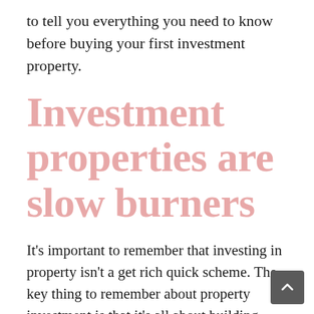to tell you everything you need to know before buying your first investment property.
Investment properties are slow burners
It's important to remember that investing in property isn't a get rich quick scheme. The key thing to remember about property investment is that it's all about building wealth steadily over the years. It's for those